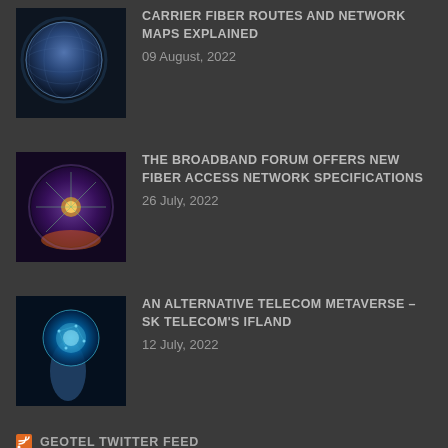[Figure (photo): Globe/earth with network grid overlay, blue tones]
CARRIER FIBER ROUTES AND NETWORK MAPS EXPLAINED
09 August, 2022
[Figure (photo): Glowing network globe with tree/flower pattern, purple and orange tones]
THE BROADBAND FORUM OFFERS NEW FIBER ACCESS NETWORK SPECIFICATIONS
26 July, 2022
[Figure (photo): Hand holding glowing circular network sphere, blue tones]
AN ALTERNATIVE TELECOM METAVERSE – SK TELECOM'S IFLAND
12 July, 2022
GEOTEL TWITTER FEED
Cell tower location data allows users to find readily-